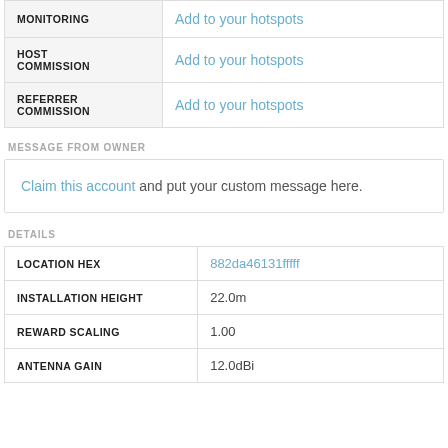|  |  |
| --- | --- |
| MONITORING | Add to your hotspots |
| HOST COMMISSION | Add to your hotspots |
| REFERRER COMMISSION | Add to your hotspots |
MESSAGE FROM OWNER
Claim this account and put your custom message here.
DETAILS
|  |  |
| --- | --- |
| LOCATION HEX | 882da46131fffff |
| INSTALLATION HEIGHT | 22.0m |
| REWARD SCALING | 1.00 |
| ANTENNA GAIN | 12.0dBi |